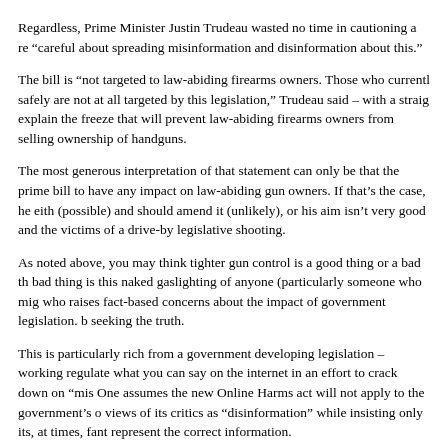Regardless, Prime Minister Justin Trudeau wasted no time in cautioning a re- “careful about spreading misinformation and disinformation about this.”
The bill is “not targeted to law-abiding firearms owners. Those who currently safely are not at all targeted by this legislation,” Trudeau said – with a straig- explain the freeze that will prevent law-abiding firearms owners from selling ownership of handguns.
The most generous interpretation of that statement can only be that the prime bill to have any impact on law-abiding gun owners. If that’s the case, he eith- (possible) and should amend it (unlikely), or his aim isn’t very good and the victims of a drive-by legislative shooting.
As noted above, you may think tighter gun control is a good thing or a bad th- bad thing is this naked gaslighting of anyone (particularly someone who mig- who raises fact-based concerns about the impact of government legislation. b- seeking the truth.
This is particularly rich from a government developing legislation – working regulate what you can say on the internet in an effort to crack down on “mis- One assumes the new Online Harms act will not apply to the government’s o- views of its critics as “disinformation” while insisting only its, at times, fant represent the correct information.
Public Safety Minister Marco Mendicino provided another example last wee- legislation regarding searches of people’s mobile devices, texts, photos, and stringent standards that must be met before a traveller’s device can be searc-